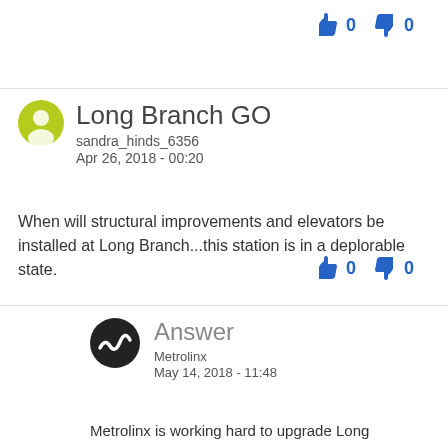[Figure (other): Vote buttons: thumbs up 0, thumbs down 0 (top right)]
[Figure (other): User avatar: green circle with person silhouette]
Long Branch GO
sandra_hinds_6356
Apr 26, 2018 - 00:20
When will structural improvements and elevators be installed at Long Branch...this station is in a deplorable state.
[Figure (other): Vote buttons: thumbs up 0, thumbs down 0 (mid right)]
[Figure (other): Answer avatar: black circle with Metrolinx wave logo]
Answer
Metrolinx
May 14, 2018 - 11:48
Metrolinx is working hard to upgrade Long